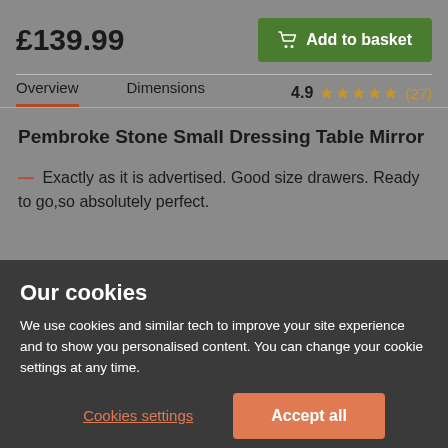£139.99
Add to basket
Overview
Dimensions
4.9 ★★★★★ (27)
Pembroke Stone Small Dressing Table Mirror
— Exactly as it is advertised. Good size drawers. Ready to go,so absolutely perfect.
Our cookies
We use cookies and similar tech to improve your site experience and to show you personalised content. You can change your cookie settings at any time.
Cookies settings
Accept all